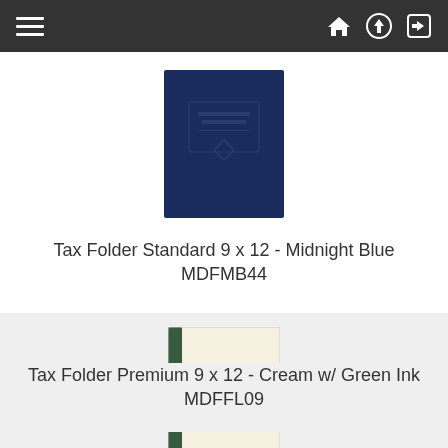Navigation bar with menu, home, upload, and login icons
[Figure (photo): Tax folder product image - midnight blue standard folder, 9x12 size]
Tax Folder Standard 9 x 12 - Midnight Blue MDFMB44
[Figure (photo): Tax folder product image - cream colored folder with green ink spine, 9x12 size]
Tax Folder Premium 9 x 12 - Cream w/ Green Ink MDFFL09